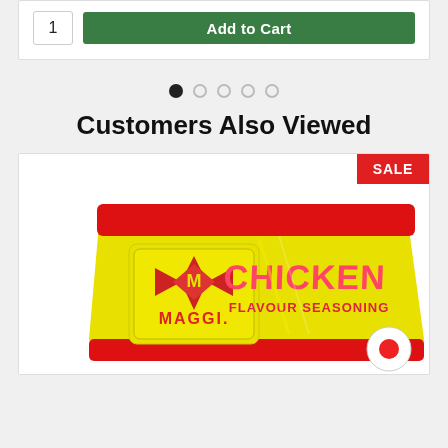1
Add to Cart
[Figure (infographic): Pagination dots: one filled black dot and four empty circle dots]
Customers Also Viewed
[Figure (photo): Product image of Maggi Chicken Flavour Seasoning bag with yellow and red packaging, showing Maggi logo and cubes, with a SALE badge in the top right corner]